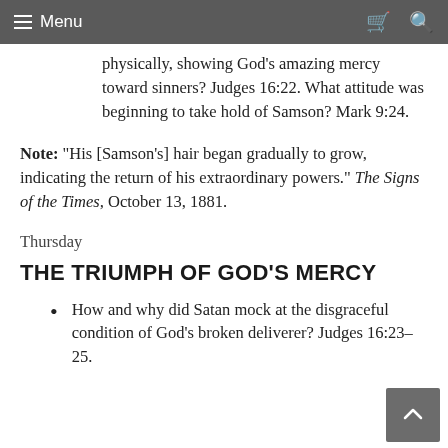Menu
physically, showing God’s amazing mercy toward sinners? Judges 16:22. What attitude was beginning to take hold of Samson? Mark 9:24.
Note: “His [Samson’s] hair began gradually to grow, indicating the return of his extraordinary powers.” The Signs of the Times, October 13, 1881.
Thursday
THE TRIUMPH OF GOD’S MERCY
How and why did Satan mock at the disgraceful condition of God’s broken deliverer? Judges 16:23–25.